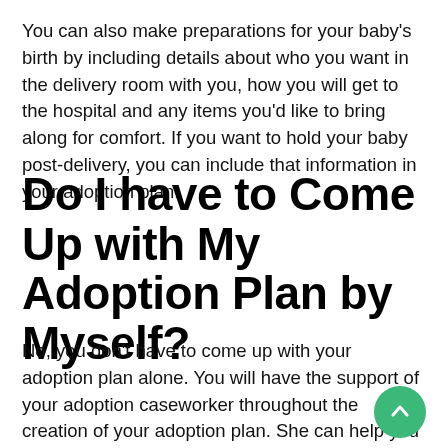You can also make preparations for your baby's birth by including details about who you want in the delivery room with you, how you will get to the hospital and any items you'd like to bring along for comfort. If you want to hold your baby post-delivery, you can include that information in your adoption plan.
Do I have to Come Up with My Adoption Plan by Myself?
No, you don't have to come up with your adoption plan alone. You will have the support of your adoption caseworker throughout the creation of your adoption plan. She can help you discuss your options and answer any questions that arise.